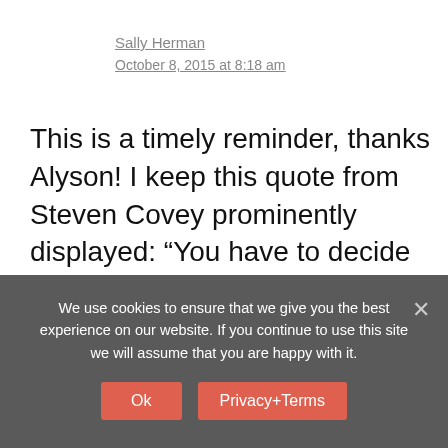Sally Herman
October 8, 2015 at 8:18 am
This is a timely reminder, thanks Alyson! I keep this quote from Steven Covey prominently displayed: “You have to decide what your highest priorities are and have the courage – pleasantly, smilingly, nonapologetically, to say “no” to other things. And the way you do that is by having a bigger “yes” burning inside” I check in with
We use cookies to ensure that we give you the best experience on our website. If you continue to use this site we will assume that you are happy with it.
Ok
Privacy+Terms